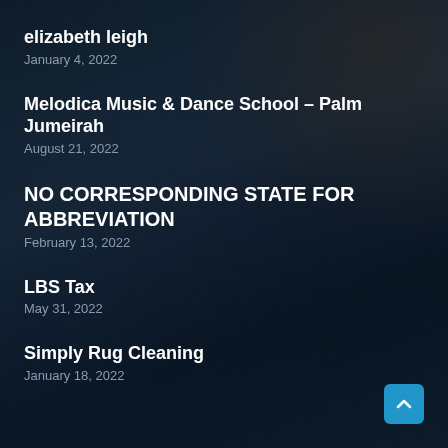elizabeth leigh
January 4, 2022
Melodica Music & Dance School – Palm Jumeirah
August 21, 2022
NO CORRESPONDING STATE FOR ABBREVIATION
February 13, 2022
LBS Tax
May 31, 2022
Simply Rug Cleaning
January 18, 2022